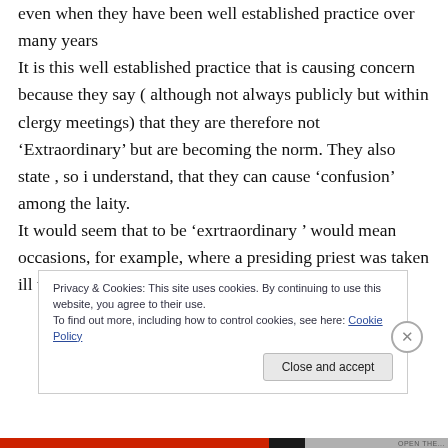even when they have been well established practice over many years It is this well established practice that is causing concern because they say ( although not always publicly but within clergy meetings) that they are therefore not ‘Extraordinary’ but are becoming the norm. They also state , so i understand, that they can cause ‘confusion’ among the laity. It would seem that to be ‘exrtraordinary ’ would mean occasions, for example, where a presiding priest was taken ill too suddenly to say Mass.
Privacy & Cookies: This site uses cookies. By continuing to use this website, you agree to their use. To find out more, including how to control cookies, see here: Cookie Policy